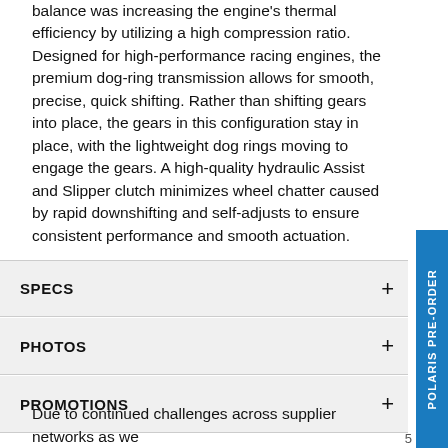balance was increasing the engine's thermal efficiency by utilizing a high compression ratio. Designed for high-performance racing engines, the premium dog-ring transmission allows for smooth, precise, quick shifting. Rather than shifting gears into place, the gears in this configuration stay in place, with the lightweight dog rings moving to engage the gears. A high-quality hydraulic Assist and Slipper clutch minimizes wheel chatter caused by rapid downshifting and self-adjusts to ensure consistent performance and smooth actuation.
SPECS
PHOTOS
PROMOTIONS
Due to continued challenges across supplier networks as we